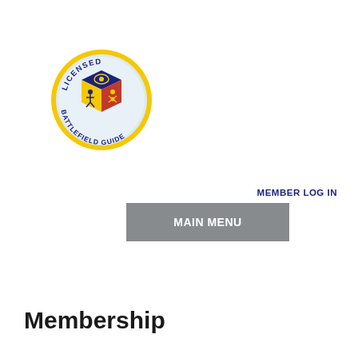[Figure (logo): Circular emblem badge reading 'LICENSED BATTLEFIELD GUIDE' around a central cube with military insignia. Gold border, blue and red sections on the cube, with yellow symbols.]
MEMBER LOG IN
MAIN MENU
Membership